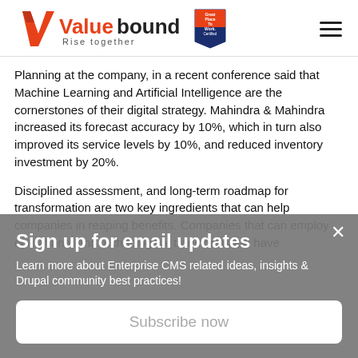[Figure (logo): Valuebound logo with 'Rise together' tagline and 'Great Place To Work Certified' badge]
Planning at the company, in a recent conference said that Machine Learning and Artificial Intelligence are the cornerstones of their digital strategy. Mahindra & Mahindra increased its forecast accuracy by 10%, which in turn also improved its service levels by 10%, and reduced inventory investment by 20%.
Disciplined assessment, and long-term roadmap for transformation are two key ingredients that can help companies in reaping benefits. Companies that can employ operational and technological transformation have
Sign up for email updates
Learn more about Enterprise CMS related ideas, insights & Drupal community best practices!
Subscribe now